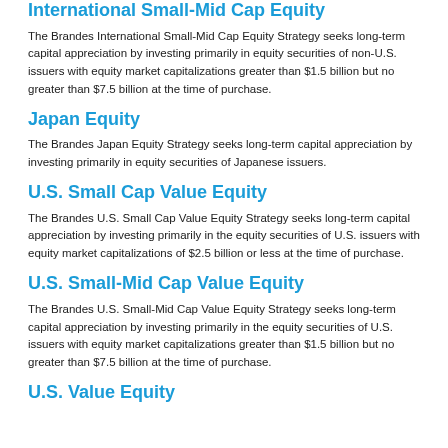International Small-Mid Cap Equity
The Brandes International Small-Mid Cap Equity Strategy seeks long-term capital appreciation by investing primarily in equity securities of non-U.S. issuers with equity market capitalizations greater than $1.5 billion but no greater than $7.5 billion at the time of purchase.
Japan Equity
The Brandes Japan Equity Strategy seeks long-term capital appreciation by investing primarily in equity securities of Japanese issuers.
U.S. Small Cap Value Equity
The Brandes U.S. Small Cap Value Equity Strategy seeks long-term capital appreciation by investing primarily in the equity securities of U.S. issuers with equity market capitalizations of $2.5 billion or less at the time of purchase.
U.S. Small-Mid Cap Value Equity
The Brandes U.S. Small-Mid Cap Value Equity Strategy seeks long-term capital appreciation by investing primarily in the equity securities of U.S. issuers with equity market capitalizations greater than $1.5 billion but no greater than $7.5 billion at the time of purchase.
U.S. Value Equity